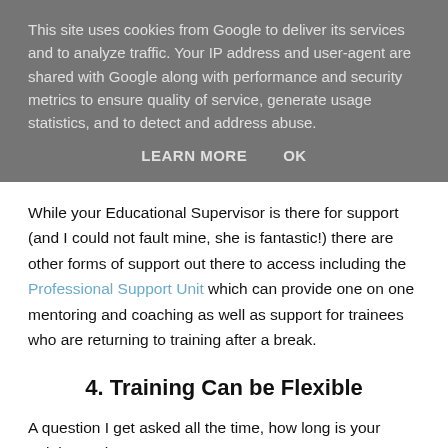This site uses cookies from Google to deliver its services and to analyze traffic. Your IP address and user-agent are shared with Google along with performance and security metrics to ensure quality of service, generate usage statistics, and to detect and address abuse.
LEARN MORE   OK
While your Educational Supervisor is there for support (and I could not fault mine, she is fantastic!) there are other forms of support out there to access including the Professional Support Unit which can provide one on one mentoring and coaching as well as support for trainees who are returning to training after a break.
4. Training Can be Flexible
A question I get asked all the time, how long is your training pathway?